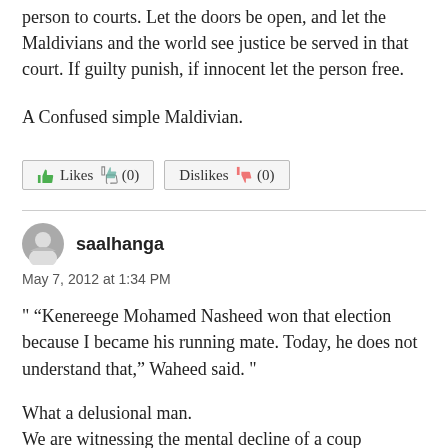person to courts. Let the doors be open, and let the Maldivians and the world see justice be served in that court. If guilty punish, if innocent let the person free.
A Confused simple Maldivian.
[Figure (other): Likes (0) and Dislikes (0) buttons with thumbs up and thumbs down icons]
saalhanga
May 7, 2012 at 1:34 PM
" “Kenereege Mohamed Nasheed won that election because I became his running mate. Today, he does not understand that,” Waheed said. "
What a delusional man.
We are witnessing the mental decline of a coup